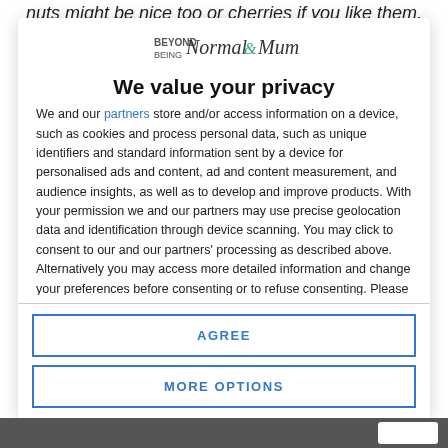nuts might be nice too or cherries if you like them.
[Figure (logo): Beyond Normal Mum logo with decorative script text]
We value your privacy
We and our partners store and/or access information on a device, such as cookies and process personal data, such as unique identifiers and standard information sent by a device for personalised ads and content, ad and content measurement, and audience insights, as well as to develop and improve products. With your permission we and our partners may use precise geolocation data and identification through device scanning. You may click to consent to our and our partners' processing as described above. Alternatively you may access more detailed information and change your preferences before consenting or to refuse consenting. Please note that some processing of your
AGREE
MORE OPTIONS